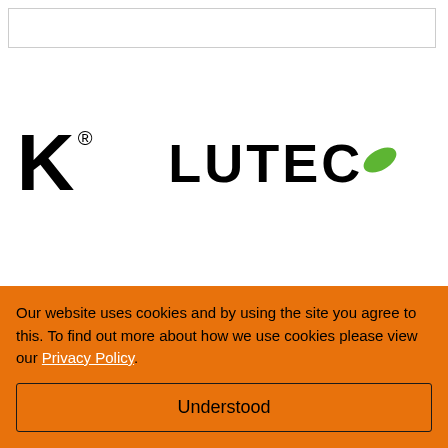[Figure (logo): Top bordered empty box, likely a search or navigation bar]
[Figure (logo): Two logos side by side: a partial K with registered trademark symbol on the left, and the LUTEC logo with a green leaf replacing the C on the right]
Our website uses cookies and by using the site you agree to this. To find out more about how we use cookies please view our Privacy Policy.
Understood